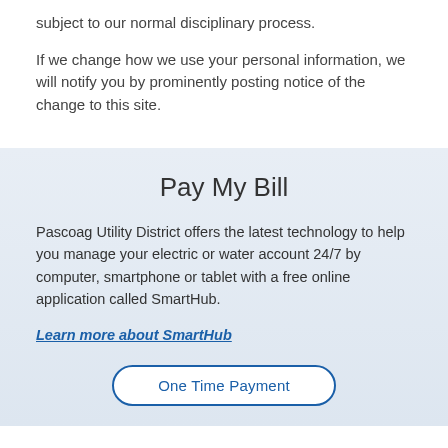subject to our normal disciplinary process.
If we change how we use your personal information, we will notify you by prominently posting notice of the change to this site.
Pay My Bill
Pascoag Utility District offers the latest technology to help you manage your electric or water account 24/7 by computer, smartphone or tablet with a free online application called SmartHub.
Learn more about SmartHub
One Time Payment